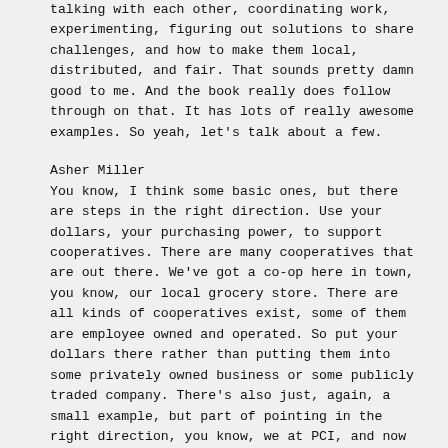talking with each other, coordinating work, experimenting, figuring out solutions to share challenges, and how to make them local, distributed, and fair. That sounds pretty damn good to me. And the book really does follow through on that. It has lots of really awesome examples. So yeah, let's talk about a few.
Asher Miller
You know, I think some basic ones, but there are steps in the right direction. Use your dollars, your purchasing power, to support cooperatives. There are many cooperatives that are out there. We've got a co-op here in town, you know, our local grocery store. There are all kinds of cooperatives exist, some of them are employee owned and operated. So put your dollars there rather than putting them into some privately owned business or some publicly traded company. There's also just, again, a small example, but part of pointing in the right direction, you know, we at PCI, and now all of our publishing at resilience.org and